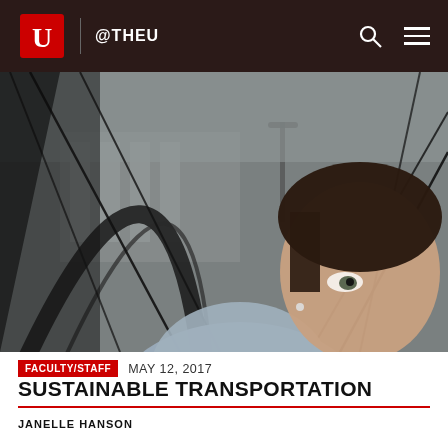@THEU
[Figure (photo): Close-up photo of a person looking through a bicycle wheel, with spokes visible in the foreground. A building and street lamp are visible in the background. The person appears to be a young woman examining the bike.]
FACULTY/STAFF   MAY 12, 2017
SUSTAINABLE TRANSPORTATION
JANELLE HANSON